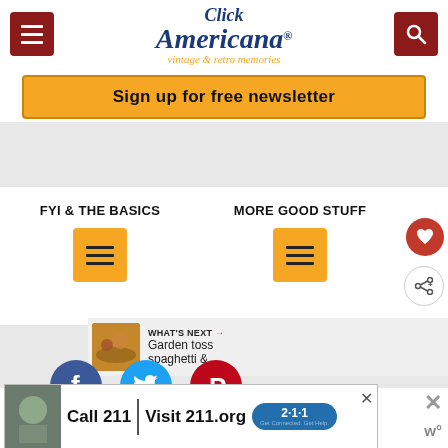Click Americana - vintage & retro memories
Sign up for free newsletter
FYI & THE BASICS
MORE GOOD STUFF
[Figure (infographic): Menu icon buttons for FYI & THE BASICS and MORE GOOD STUFF sections]
WHAT'S NEXT → Garden toss spaghetti &...
[Figure (infographic): Social share buttons: Facebook, Twitter, Pinterest]
[Figure (infographic): Advertisement: Call 211 | Visit 211.org badge]